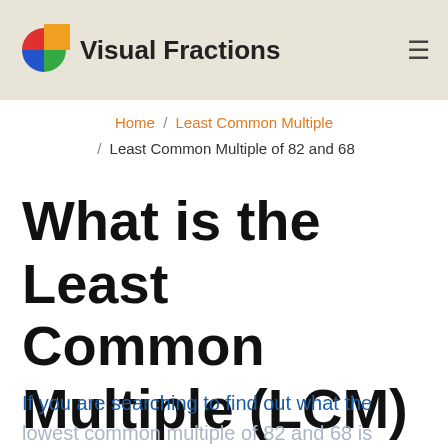Visual Fractions
Home / Least Common Multiple / Least Common Multiple of 82 and 68
What is the Least Common Multiple (LCM) of 82 and 68?
If you are searching to find out what the lowest common multiple of 82 and 68 is then you probably figured out you are in